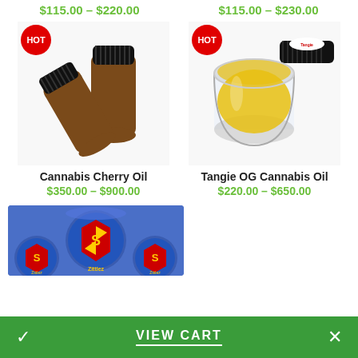$115.00 – $220.00
$115.00 – $230.00
[Figure (photo): Two amber glass bottles with black ribbed caps labeled HOT, Cannabis Cherry Oil]
[Figure (photo): Glass jar with yellow oil and black lid labeled HOT, Tangie OG Cannabis Oil]
Cannabis Cherry Oil
$350.00 – $900.00
Tangie OG Cannabis Oil
$220.00 – $650.00
[Figure (photo): Blue Superman logo tin cans with yellow accents]
VIEW CART